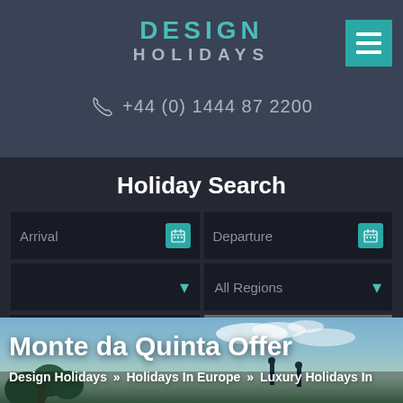DESIGN HOLIDAYS +44 (0) 1444 87 2200
Holiday Search
Arrival | Departure | All Regions | SEARCH
[Figure (photo): Outdoor scene with blue sky and trees, overlay for Monte da Quinta Offer page]
Monte da Quinta Offer
Design Holidays » Holidays In Europe » Luxury Holidays In